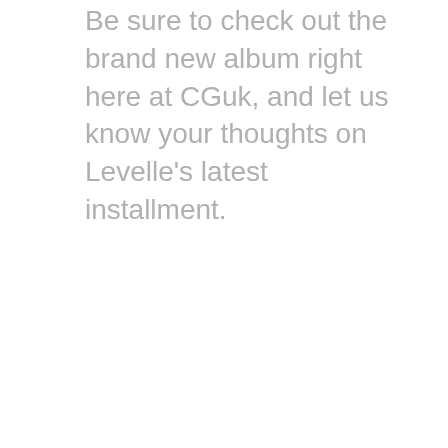Be sure to check out the brand new album right here at CGuk, and let us know your thoughts on Levelle's latest installment.